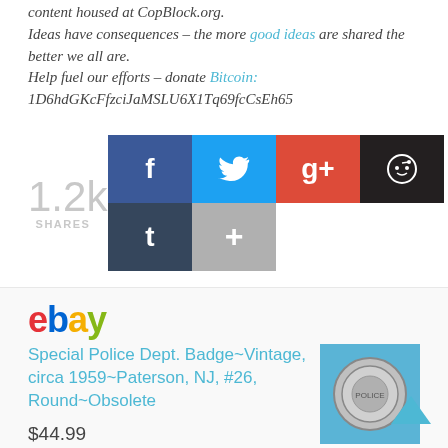content housed at CopBlock.org. Ideas have consequences – the more good ideas are shared the better we all are. Help fuel our efforts – donate Bitcoin: 1D6hdGKcFfzciJaMSLU6X1Tq69fcCsEh65
[Figure (infographic): Social share buttons showing 1.2k shares, with Facebook (dark blue), Twitter (light blue), Google+ (red), Reddit (dark), Tumblr (dark blue), and More (+) (gray) buttons]
[Figure (logo): eBay logo in multicolor (red e, blue b, yellow a, green y)]
Special Police Dept. Badge~Vintage, circa 1959~Paterson, NJ, #26, Round~Obsolete
$44.99
[Figure (photo): Photo of a round vintage police badge on blue background]